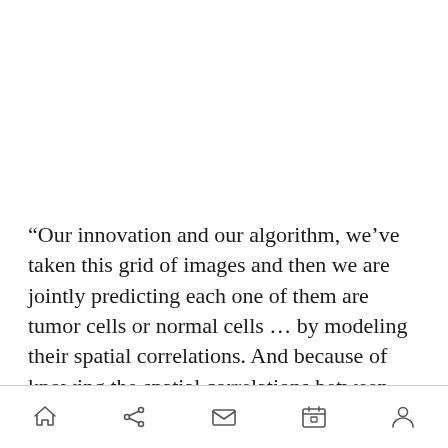“Our innovation and our algorithm, we’ve taken this grid of images and then we are jointly predicting each one of them are tumor cells or normal cells … by modeling their spatial correlations. And because of knowing the spatial correlations between each of these patches, the
[navigation bar with home, share, mail, calendar, person icons]